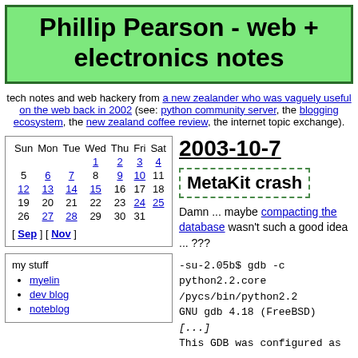Phillip Pearson - web + electronics notes
tech notes and web hackery from a new zealander who was vaguely useful on the web back in 2002 (see: python community server, the blogging ecosystem, the new zealand coffee review, the internet topic exchange).
| Sun | Mon | Tue | Wed | Thu | Fri | Sat |
| --- | --- | --- | --- | --- | --- | --- |
|  |  |  | 1 | 2 | 3 | 4 |
| 5 | 6 | 7 | 8 | 9 | 10 | 11 |
| 12 | 13 | 14 | 15 | 16 | 17 | 18 |
| 19 | 20 | 21 | 22 | 23 | 24 | 25 |
| 26 | 27 | 28 | 29 | 30 | 31 |  |
[ Sep ] [ Nov ]
my stuff
myelin
dev blog
noteblog
2003-10-7
MetaKit crash
Damn ... maybe compacting the database wasn't such a good idea ... ???
-su-2.05b$ gdb -c python2.2.core /pycs/bin/python2.2 GNU gdb 4.18 (FreeBSD) [...] This GDB was configured as